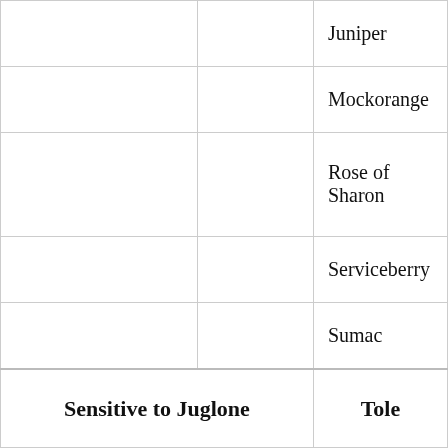|  |  | Tolerant/Resistant |
| --- | --- | --- |
|  |  | Juniper |
|  |  | Mockorange |
|  |  | Rose of Sharon |
|  |  | Serviceberry |
|  |  | Sumac |
| Sensitive to Juglone |  | Tole... |